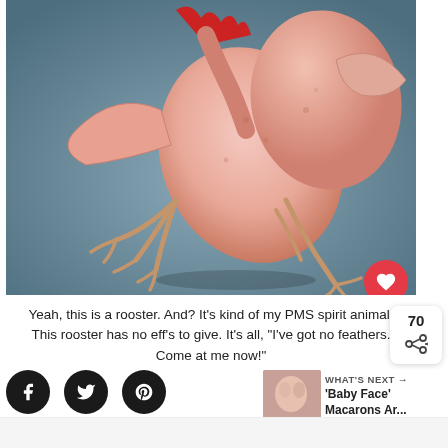[Figure (photo): A featherless rooster photographed mid-action against a grey-blue studio background, appearing to jump or run with claws outstretched and a red comb visible at top.]
Yeah, this is a rooster. And? It's kind of my PMS spirit animal. This rooster has no eff's to give. It's all, "I've got no feathers. Come at me now!"
[Figure (illustration): Social sharing buttons: Facebook (f), Twitter (bird), Pinterest (P) — black circular icons. To the right: WHAT'S NEXT arrow label with thumbnail image and title 'Baby Face' Macarons Ar...]